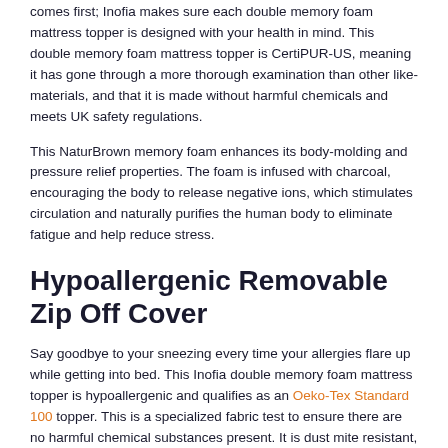comes first; Inofia makes sure each double memory foam mattress topper is designed with your health in mind. This double memory foam mattress topper is CertiPUR-US, meaning it has gone through a more thorough examination than other like-materials, and that it is made without harmful chemicals and meets UK safety regulations.
This NaturBrown memory foam enhances its body-molding and pressure relief properties. The foam is infused with charcoal, encouraging the body to release negative ions, which stimulates circulation and naturally purifies the human body to eliminate fatigue and help reduce stress.
Hypoallergenic Removable Zip Off Cover
Say goodbye to your sneezing every time your allergies flare up while getting into bed. This Inofia double memory foam mattress topper is hypoallergenic and qualifies as an Oeko-Tex Standard 100 topper. This is a specialized fabric test to ensure there are no harmful chemical substances present. It is dust mite resistant, fully removable from the topper, and machine washable for easy care.